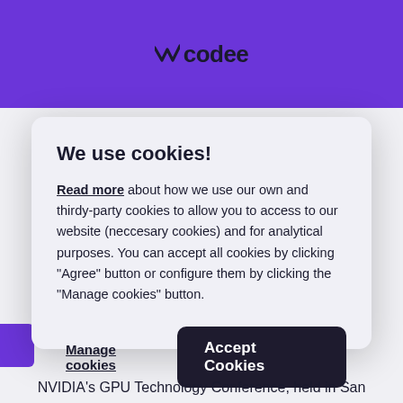[Figure (logo): Codee logo with lightning bolt icon and text 'codee' on purple header bar]
We use cookies!
Read more about how we use our own and thirdy-party cookies to allow you to access to our website (neccesary cookies) and for analytical purposes. You can accept all cookies by clicking "Agree" button or configure them by clicking the "Manage cookies" button.
Manage cookies
Accept Cookies
NVIDIA's GPU Technology Conference, held in San